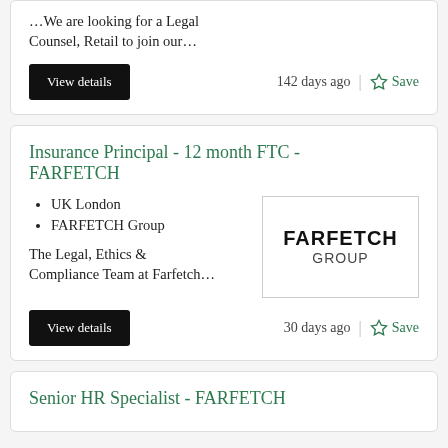We are looking for a Legal Counsel, Retail to join our...
View details  142 days ago  Save
Insurance Principal - 12 month FTC - FARFETCH
UK London
FARFETCH Group
[Figure (logo): FARFETCH GROUP logo in bold black text]
The Legal, Ethics & Compliance Team at Farfetch...
View details  30 days ago  Save
Senior HR Specialist - FARFETCH